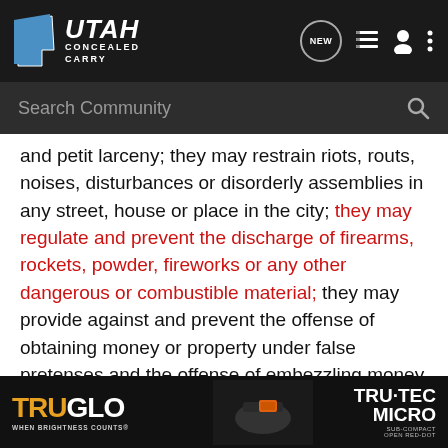Utah Concealed Carry — NEW
and petit larceny; they may restrain riots, routs, noises, disturbances or disorderly assemblies in any street, house or place in the city; they may regulate and prevent the discharge of firearms, rockets, powder, fireworks or any other dangerous or combustible material; they may provide against and prevent the offense of obtaining money or property under false pretenses and the offense of embezzling money or property in all cases where the money or property embezzled or obtained under false pretenses does not exceed in value the sum of $100 and may prohibit the sale, giving away or furnishing of intoxicating liquors or narcotics, or of tobacco to any person under twenty-one years of age; cities may, by ordinance, prohibit the possession of controlled substances as defined in the Utah...ct is not a cl...atment of th...
[Figure (advertisement): TruGlo TRU-TEC MICRO advertisement banner]